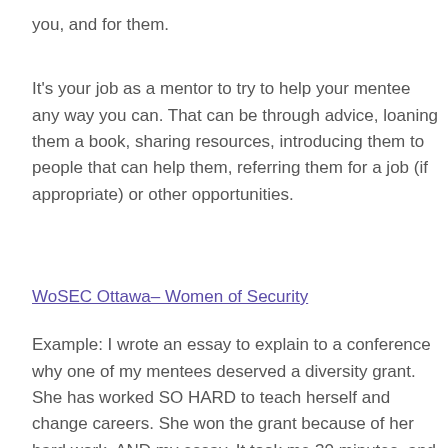you, and for them.
It's your job as a mentor to try to help your mentee any way you can. That can be through advice, loaning them a book, sharing resources, introducing them to people that can help them, referring them for a job (if appropriate) or other opportunities.
WoSEC Ottawa– Women of Security
Example: I wrote an essay to explain to a conference why one of my mentees deserved a diversity grant. She has worked SO HARD to teach herself and change careers. She won the grant because of her hard work, AND my essay. It took me 30 minutes, and she benefited.